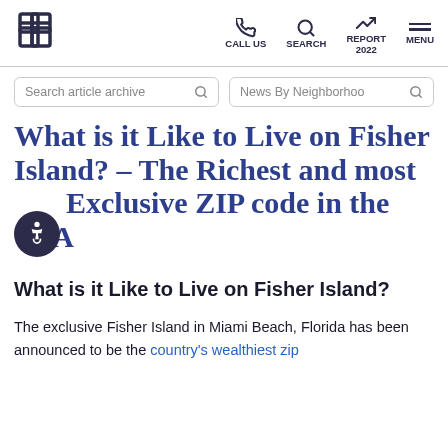Logo | CALL US | SEARCH | REPORT 2022 | MENU
Search article archive | News By Neighborhood
What is it Like to Live on Fisher Island? – The Richest and most Exclusive ZIP code in the USA
What is it Like to Live on Fisher Island?
The exclusive Fisher Island in Miami Beach, Florida has been announced to be the country's wealthiest zip